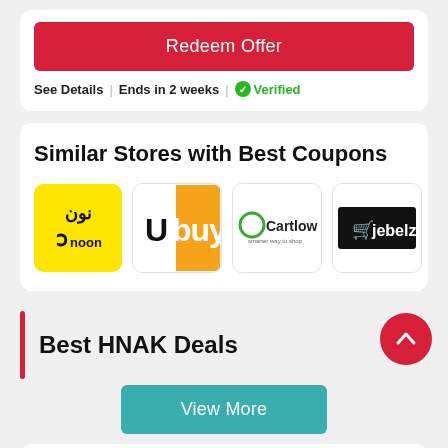Redeem Offer
See Details | Ends in 2 weeks | ✓Verified
Similar Stores with Best Coupons
[Figure (logo): noon logo - yellow background with Arabic text نون and English text noon]
[Figure (logo): Ubuy logo - orange and white with text Ubuy]
[Figure (logo): Cartlow logo - white background with green e icon and Cartlow text]
[Figure (logo): jebelz logo - black background with shopping cart icon and jebelz text]
Best HNAK Deals
View More
HNAK FAQs